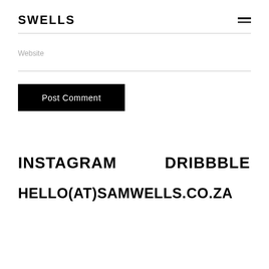SWELLS
Website
Post Comment
INSTAGRAM    DRIBBBLE
HELLO(AT)SAMWELLS.CO.ZA